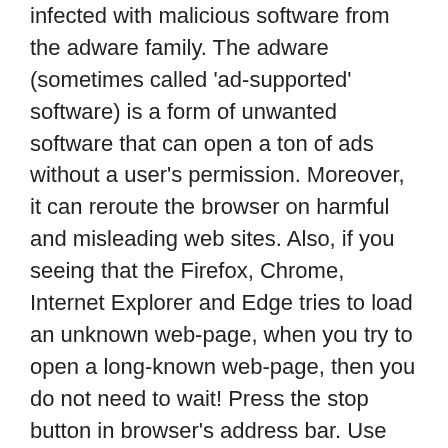infected with malicious software from the adware family. The adware (sometimes called 'ad-supported' software) is a form of unwanted software that can open a ton of ads without a user's permission. Moreover, it can reroute the browser on harmful and misleading web sites. Also, if you seeing that the Firefox, Chrome, Internet Explorer and Edge tries to load an unknown web-page, when you try to open a long-known web-page, then you do not need to wait! Press the stop button in browser's address bar. Use the guide below and clean your computer from adware as soon as possible. It will assist you to remove the unwanted SockShare ads and any other annoying pop-ups.
The adware usually affects only the Google Chrome, Firefox, MS Edge and Microsoft Internet Explorer by changing the web browser's settings or installing a